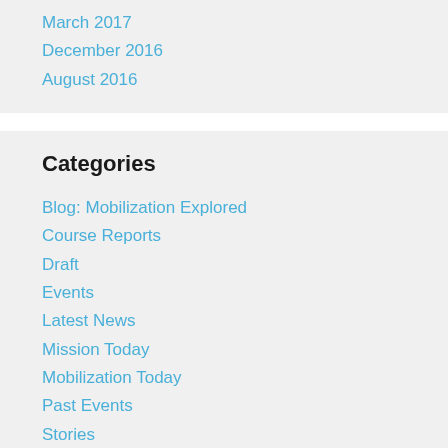March 2017
December 2016
August 2016
Categories
Blog: Mobilization Explored
Course Reports
Draft
Events
Latest News
Mission Today
Mobilization Today
Past Events
Stories